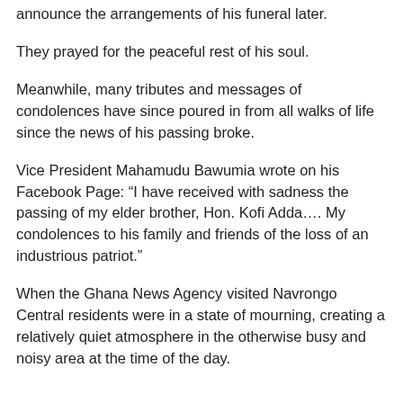announce the arrangements of his funeral later.
They prayed for the peaceful rest of his soul.
Meanwhile, many tributes and messages of condolences have since poured in from all walks of life since the news of his passing broke.
Vice President Mahamudu Bawumia wrote on his Facebook Page: “I have received with sadness the passing of my elder brother, Hon. Kofi Adda…. My condolences to his family and friends of the loss of an industrious patriot.”
When the Ghana News Agency visited Navrongo Central residents were in a state of mourning, creating a relatively quiet atmosphere in the otherwise busy and noisy area at the time of the day.